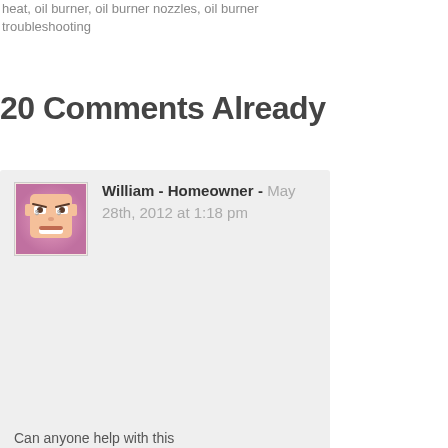heat, oil burner, oil burner nozzles, oil burner troubleshooting
20 Comments Already
[Figure (illustration): Avatar image of a cartoon Roblox-style face with an angry expression, peach skin tone, with a pink/purple gradient border]
William - Homeowner - May 28th, 2012 at 1:18 pm
Can anyone help with this